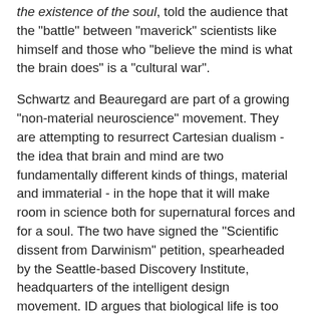the existence of the soul, told the audience that the "battle" between "maverick" scientists like himself and those who "believe the mind is what the brain does" is a "cultural war".
Schwartz and Beauregard are part of a growing "non-material neuroscience" movement. They are attempting to resurrect Cartesian dualism - the idea that brain and mind are two fundamentally different kinds of things, material and immaterial - in the hope that it will make room in science both for supernatural forces and for a soul. The two have signed the "Scientific dissent from Darwinism" petition, spearheaded by the Seattle-based Discovery Institute, headquarters of the intelligent design movement. ID argues that biological life is too complex to have arisen through evolution.
We see as through a glass, darkly. Which is to say, we see parts of the whole, and have to guess the rest, while searching for more and better data. It really is like solving a